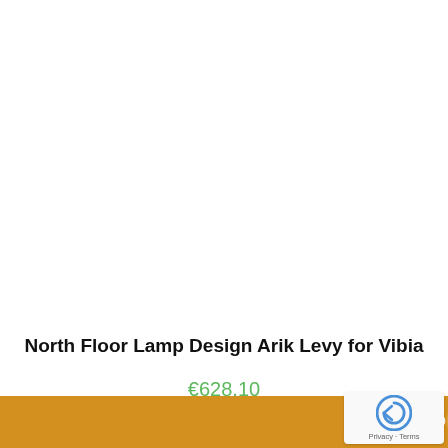[Figure (photo): White/empty product image area for North Floor Lamp]
North Floor Lamp Design Arik Levy for Vibia
€628,10
SELECT OPTIONS